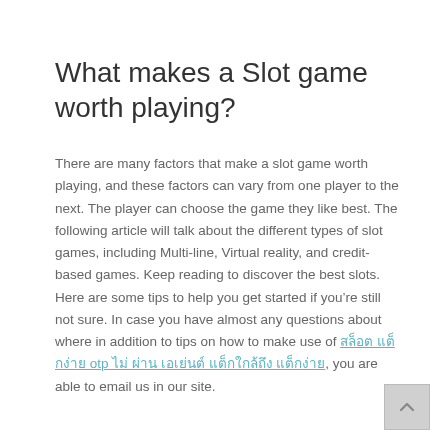What makes a Slot game worth playing?
There are many factors that make a slot game worth playing, and these factors can vary from one player to the next. The player can choose the game they like best. The following article will talk about the different types of slot games, including Multi-line, Virtual reality, and credit-based games. Keep reading to discover the best slots. Here are some tips to help you get started if you’re still not sure. In case you have almost any questions about where in addition to tips on how to make use of สล็อต แต็กง่าย otp ไม่ ผ่าน เอเย่นต์ แต็กใกล้ถึง แต็กง่าย, you are able to email us in our site.